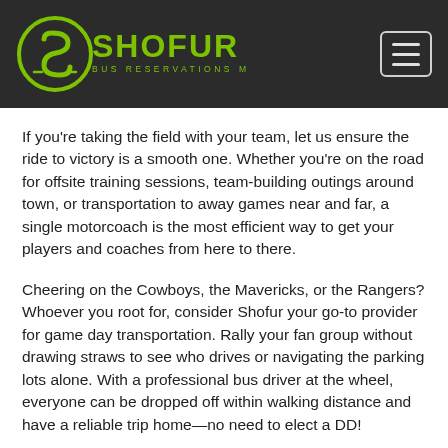[Figure (logo): Shofur logo with green circular S icon and text 'SHOFUR BUS RESERVATIONS MADE EASY' on dark background]
If you're taking the field with your team, let us ensure the ride to victory is a smooth one. Whether you're on the road for offsite training sessions, team-building outings around town, or transportation to away games near and far, a single motorcoach is the most efficient way to get your players and coaches from here to there.
Cheering on the Cowboys, the Mavericks, or the Rangers? Whoever you root for, consider Shofur your go-to provider for game day transportation. Rally your fan group without drawing straws to see who drives or navigating the parking lots alone. With a professional bus driver at the wheel, everyone can be dropped off within walking distance and have a reliable trip home—no need to elect a DD!